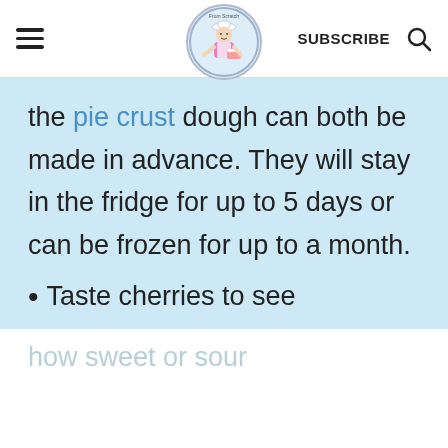≡  [Logo: From Scratch] SUBSCRIBE 🔍
the pie crust dough can both be made in advance. They will stay in the fridge for up to 5 days or can be frozen for up to a month.
Taste cherries to see
how sweet or sour